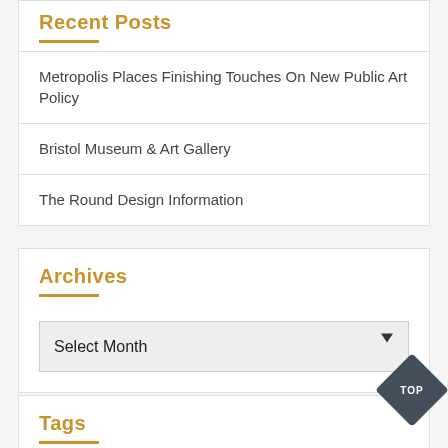Recent Posts
Metropolis Places Finishing Touches On New Public Art Policy
Bristol Museum & Art Gallery
The Round Design Information
Archives
Select Month
Tags